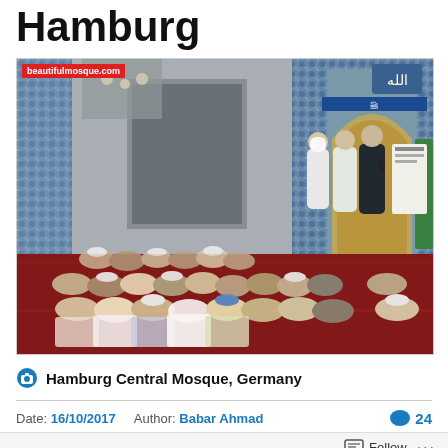Hamburg
[Figure (photo): Interior of Hamburg Central Mosque, Germany. A large group of men are seated on red carpets facing the ornately tiled mihrab. A speaker stands at the front near the decorated arch. The walls are covered with blue and white geometric tile patterns. A watermark reads beautifulmosque.com.]
Hamburg Central Mosque, Germany
Date: 16/10/2017  Author: Babar Ahmad  💬 24
Follow  ...